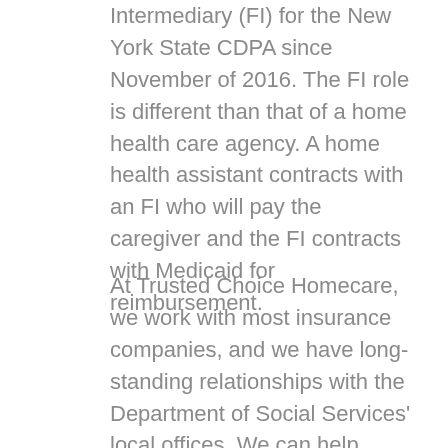Intermediary (FI) for the New York State CDPA since November of 2016. The FI role is different than that of a home health care agency. A home health assistant contracts with an FI who will pay the caregiver and the FI contracts with Medicaid for reimbursement.
At Trusted Choice Homecare, we work with most insurance companies, and we have long-standing relationships with the Department of Social Services' local offices. We can help, even if you aren't signed up for